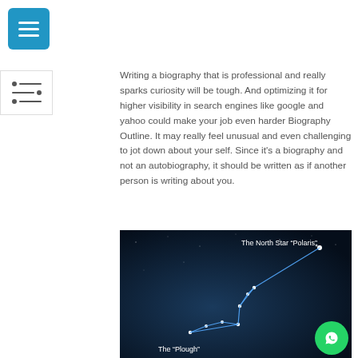[Figure (other): Blue square hamburger menu button in top left corner]
[Figure (other): Filter/equalizer icon in left sidebar]
Writing a biography that is professional and really sparks curiosity will be tough. And optimizing it for higher visibility in search engines like google and yahoo could make your job even harder Biography Outline. It may really feel unusual and even challenging to jot down about your self. Since it's a biography and not an autobiography, it should be written as if another person is writing about you.
[Figure (illustration): Dark blue night sky image showing constellation diagram with The North Star Polaris labeled at top right connected by a line to The Plough constellation at bottom left, white dots representing stars on a deep blue background]